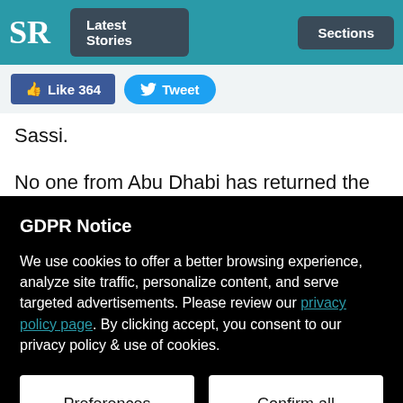SR | Latest Stories | Sections
Like 364  Tweet
Sassi.
No one from Abu Dhabi has returned the money from Topaz. To the contrary it is Malaysia which has been paying Abu Dhabi for delaying to remove the side of fund ($1.46billi…
GDPR Notice
We use cookies to offer a better browsing experience, analyze site traffic, personalize content, and serve targeted advertisements. Please review our privacy policy page. By clicking accept, you consent to our privacy policy & use of cookies.
Preferences | Confirm all